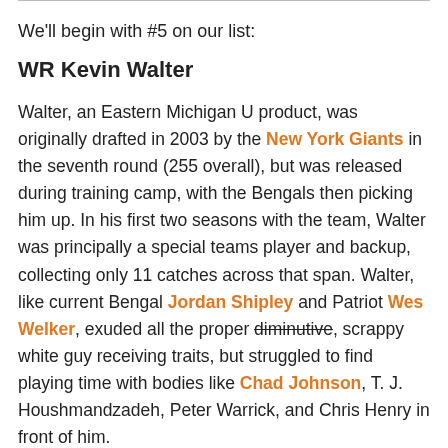We'll begin with #5 on our list:
WR Kevin Walter
Walter, an Eastern Michigan U product, was originally drafted in 2003 by the New York Giants in the seventh round (255 overall), but was released during training camp, with the Bengals then picking him up. In his first two seasons with the team, Walter was principally a special teams player and backup, collecting only 11 catches across that span. Walter, like current Bengal Jordan Shipley and Patriot Wes Welker, exuded all the proper diminutive, scrappy white guy receiving traits, but struggled to find playing time with bodies like Chad Johnson, T. J. Houshmandzadeh, Peter Warrick, and Chris Henry in front of him.